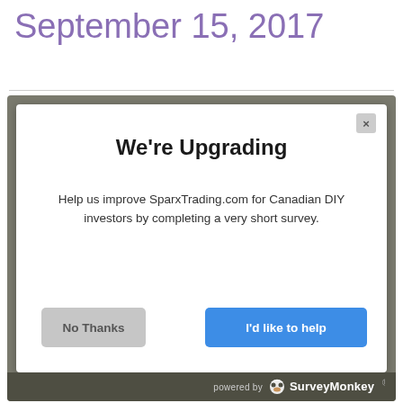September 15, 2017
[Figure (screenshot): A modal dialog popup from SurveyMonkey overlaying the SparxTrading.com webpage. The modal has a white background with a close button (X) in the top right corner. Title reads 'We're Upgrading'. Body text reads 'Help us improve SparxTrading.com for Canadian DIY investors by completing a very short survey.' Two buttons at the bottom: 'No Thanks' (gray) on the left, and 'I'd like to help' (blue) on the right. The modal sits on a gray overlay. Below the modal is a 'powered by SurveyMonkey' bar in dark gray.]
learning the ropes for any investor.
In this week's roundup we take a snapshot of the latest